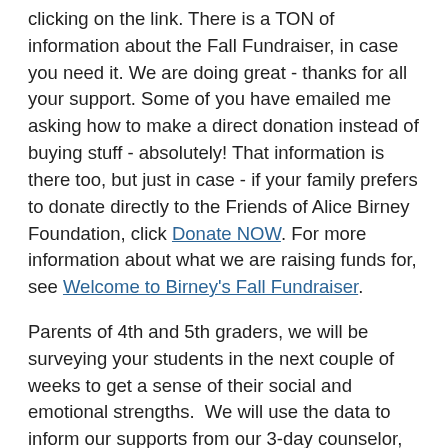clicking on the link. There is a TON of information about the Fall Fundraiser, in case you need it. We are doing great - thanks for all your support. Some of you have emailed me asking how to make a direct donation instead of buying stuff - absolutely! That information is there too, but just in case - if your family prefers to donate directly to the Friends of Alice Birney Foundation, click Donate NOW. For more information about what we are raising funds for, see Welcome to Birney's Fall Fundraiser.
Parents of 4th and 5th graders, we will be surveying your students in the next couple of weeks to get a sense of their social and emotional strengths. We will use the data to inform our supports from our 3-day counselor, Ms. Dora Arnold, as well as our budgeting priorities for the year. Please see the letter from the district including a presentation which explains more about the survey and